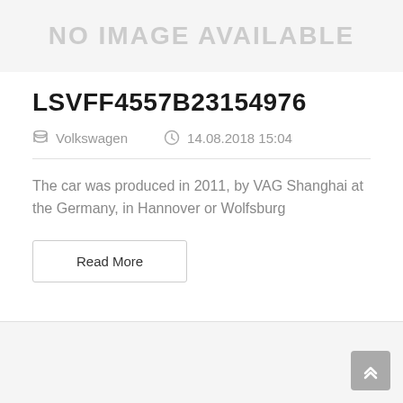[Figure (other): No image available placeholder banner with gray text on light gray background]
LSVFF4557B23154976
Volkswagen   14.08.2018 15:04
The car was produced in 2011, by VAG Shanghai at the Germany, in Hannover or Wolfsburg
Read More